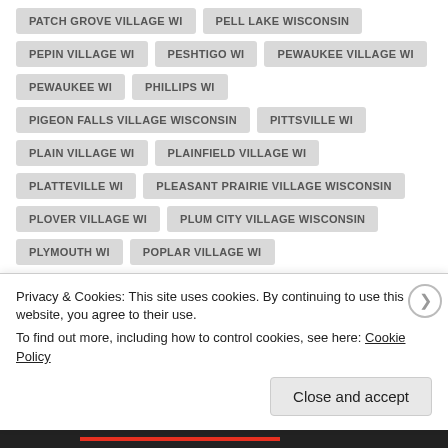PATCH GROVE VILLAGE WI
PELL LAKE WISCONSIN
PEPIN VILLAGE WI
PESHTIGO WI
PEWAUKEE VILLAGE WI
PEWAUKEE WI
PHILLIPS WI
PIGEON FALLS VILLAGE WISCONSIN
PITTSVILLE WI
PLAIN VILLAGE WI
PLAINFIELD VILLAGE WI
PLATTEVILLE WI
PLEASANT PRAIRIE VILLAGE WISCONSIN
PLOVER VILLAGE WI
PLUM CITY VILLAGE WISCONSIN
PLYMOUTH WI
POPLAR VILLAGE WI
Privacy & Cookies: This site uses cookies. By continuing to use this website, you agree to their use.
To find out more, including how to control cookies, see here: Cookie Policy